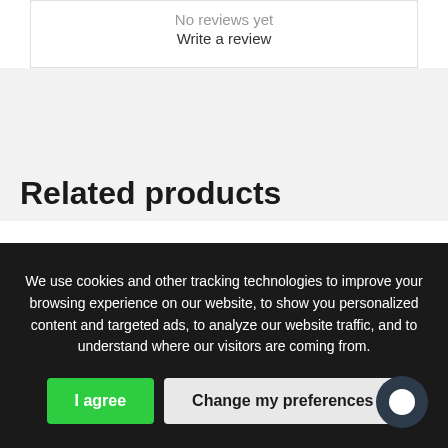No reviews yet
Write a review
Related products
We use cookies and other tracking technologies to improve your browsing experience on our website, to show you personalized content and targeted ads, to analyze our website traffic, and to understand where our visitors are coming from.
I agree
Change my preferences